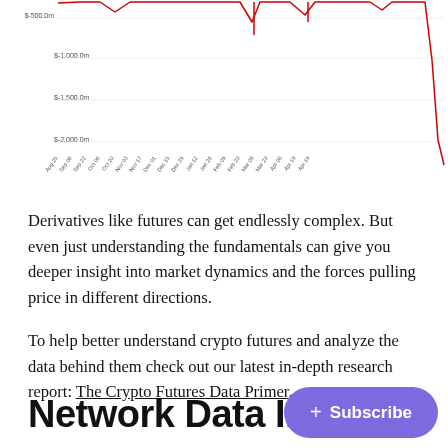[Figure (continuous-plot): A line chart showing crypto futures data with a red line dipping sharply negative (around -$1,500 to -$2,000 range) toward the right side of the chart. Y-axis shows values from approx $0 to -$2,000 in increments. X-axis shows dates from late 2021 through April 2021. A large CM watermark is visible in the chart area.]
Derivatives like futures can get endlessly complex. But even just understanding the fundamentals can give you deeper insight into market dynamics and the forces pulling price in different directions.
To help better understand crypto futures and analyze the data behind them check out our latest in-depth research report: The Crypto Futures Data Primer.
Network Data Ins